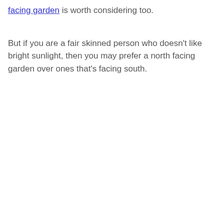facing garden is worth considering too.

But if you are a fair skinned person who doesn't like bright sunlight, then you may prefer a north facing garden over ones that's facing south.